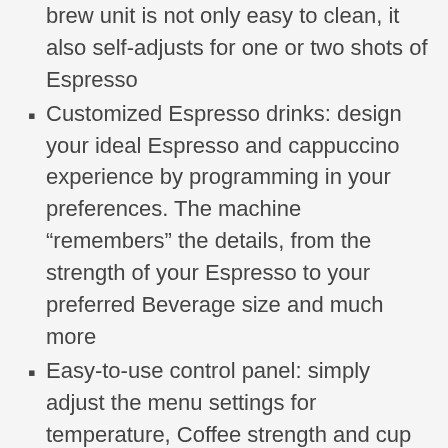brew unit is not only easy to clean, it also self-adjusts for one or two shots of Espresso
Customized Espresso drinks: design your ideal Espresso and cappuccino experience by programming in your preferences. The machine “remembers” the details, from the strength of your Espresso to your preferred Beverage size and much more
Easy-to-use control panel: simply adjust the menu settings for temperature, Coffee strength and cup size according to your preferences. The machine takes care of the rest
Compact design: this ESAM04110S has the features of a full-size automatic machine but in a streamlined, compact design that Fits beautifully on your kitchen countertop
No waiting between cups: the rapid cappuccino system maintains the optimal temperature so you can